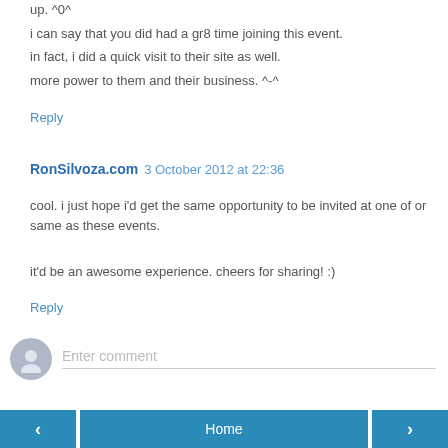up. ^0^
i can say that you did had a gr8 time joining this event.
in fact, i did a quick visit to their site as well.
more power to them and their business. ^-^
Reply
RonSilvoza.com  3 October 2012 at 22:36
cool. i just hope i'd get the same opportunity to be invited at one of or same as these events.
it'd be an awesome experience. cheers for sharing! :)
Reply
Enter comment
‹  Home  ›